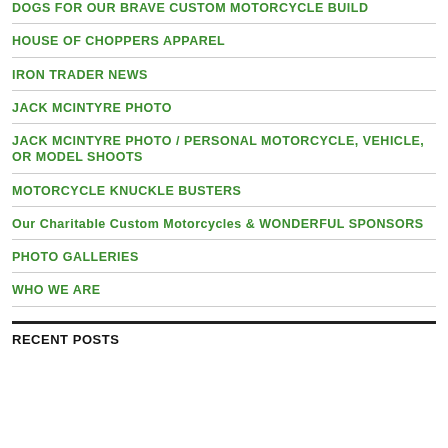DOGS FOR OUR BRAVE CUSTOM MOTORCYCLE BUILD
HOUSE OF CHOPPERS APPAREL
IRON TRADER NEWS
JACK MCINTYRE PHOTO
JACK MCINTYRE PHOTO / PERSONAL MOTORCYCLE, VEHICLE, OR MODEL SHOOTS
MOTORCYCLE KNUCKLE BUSTERS
Our Charitable Custom Motorcycles & WONDERFUL SPONSORS
PHOTO GALLERIES
WHO WE ARE
RECENT POSTS